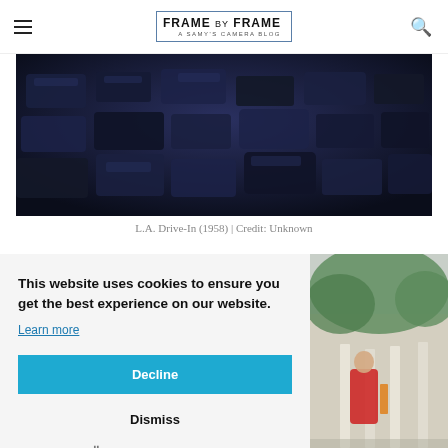FRAME BY FRAME — A SAMY'S CAMERA BLOG
[Figure (photo): Black and white/dark blue tinted aerial photo of cars packed into an L.A. drive-in parking lot, 1958]
L.A. Drive-In (1958) | Credit: Unknown
This website uses cookies to ensure you get the best experience on our website.
Learn more
Decline
Dismiss
Cookie Preferences
[Figure (photo): Color photo of a person in red clothing on a street with plants and painted wall]